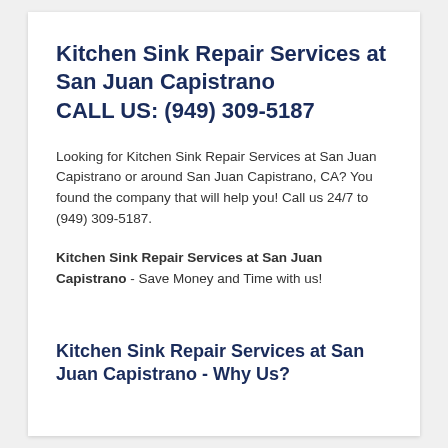Kitchen Sink Repair Services at San Juan Capistrano CALL US: (949) 309-5187
Looking for Kitchen Sink Repair Services at San Juan Capistrano or around San Juan Capistrano, CA? You found the company that will help you! Call us 24/7 to (949) 309-5187.
Kitchen Sink Repair Services at San Juan Capistrano - Save Money and Time with us!
Kitchen Sink Repair Services at San Juan Capistrano - Why Us?